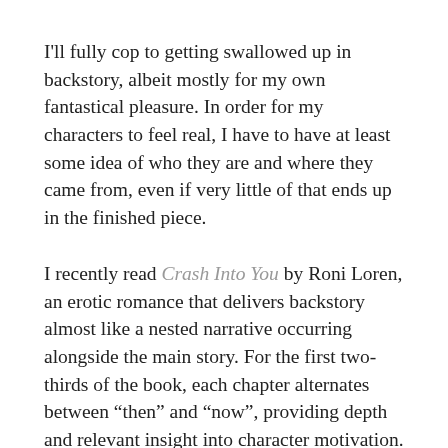I'll fully cop to getting swallowed up in backstory, albeit mostly for my own fantastical pleasure. In order for my characters to feel real, I have to have at least some idea of who they are and where they came from, even if very little of that ends up in the finished piece.
I recently read Crash Into You by Roni Loren, an erotic romance that delivers backstory almost like a nested narrative occurring alongside the main story. For the first two-thirds of the book, each chapter alternates between “then” and “now”, providing depth and relevant insight into character motivation. At first, I thought I might find the back-and-forth a little disjointing, but since the focus remained squarely on the relationship between the main characters, it stayed cohesive.